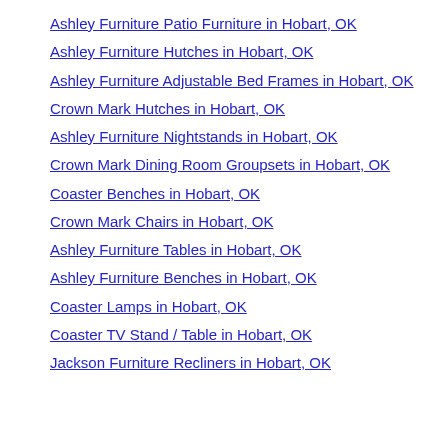Ashley Furniture Patio Furniture in Hobart, OK
Ashley Furniture Hutches in Hobart, OK
Ashley Furniture Adjustable Bed Frames in Hobart, OK
Crown Mark Hutches in Hobart, OK
Ashley Furniture Nightstands in Hobart, OK
Crown Mark Dining Room Groupsets in Hobart, OK
Coaster Benches in Hobart, OK
Crown Mark Chairs in Hobart, OK
Ashley Furniture Tables in Hobart, OK
Ashley Furniture Benches in Hobart, OK
Coaster Lamps in Hobart, OK
Coaster TV Stand / Table in Hobart, OK
Jackson Furniture Recliners in Hobart, OK